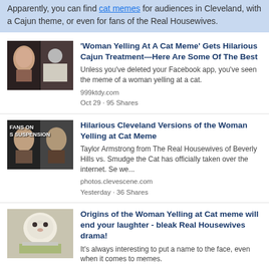Apparently, you can find cat memes for audiences in Cleveland, with a Cajun theme, or even for fans of the Real Housewives.
[Figure (photo): Thumbnail image of Woman Yelling at Cat meme - woman pointing and cat at dinner table]
'Woman Yelling At A Cat Meme' Gets Hilarious Cajun Treatment—Here Are Some Of The Best
Unless you've deleted your Facebook app, you've seen the meme of a woman yelling at a cat.
999ktdy.com
Oct 29 · 95 Shares
[Figure (photo): Thumbnail image of Woman Yelling at Cat meme with text overlay 'FANS ON S SUSPENSION']
Hilarious Cleveland Versions of the Woman Yelling at Cat Meme
Taylor Armstrong from The Real Housewives of Beverly Hills vs. Smudge the Cat has officially taken over the internet. Se we...
photos.clevescene.com
Yesterday · 36 Shares
[Figure (photo): Thumbnail image of Smudge the Cat sitting at dinner table with vegetables]
Origins of the Woman Yelling at Cat meme will end your laughter - bleak Real Housewives drama!
It's always interesting to put a name to the face, even when it comes to memes.
hitc.com
Nov 12 · 19 Shares
Conclusion